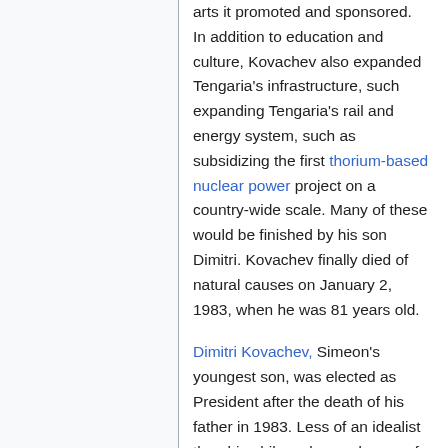arts it promoted and sponsored. In addition to education and culture, Kovachev also expanded Tengaria's infrastructure, such expanding Tengaria's rail and energy system, such as subsidizing the first thorium-based nuclear power project on a country-wide scale. Many of these would be finished by his son Dimitri. Kovachev finally died of natural causes on January 2, 1983, when he was 81 years old.
Dimitri Kovachev, Simeon's youngest son, was elected as President after the death of his father in 1983. Less of an idealist than his philosopher and more of a pragmatist, he tried to modernize Tengaria more and to ensure the survival of the Patriotic Union throughout the next decades. He instituted six year terms for the Presidency, and also brought